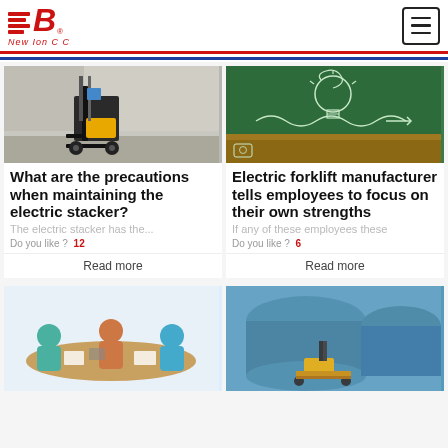B New Ion C C
[Figure (photo): Electric stacker forklift in a warehouse]
What are the precautions when maintaining the electric stacker?
The electric stacker has the...
Do you like ?  12
Read more
[Figure (photo): Chalkboard with light bulb drawing made of circuit lines]
Electric forklift manufacturer tells employees to focus on their own strengths
If any of these employees these
Do you like ?  6
Read more
[Figure (photo): People at a meeting table working]
[Figure (photo): Yellow electric pallet truck near blue tanks]